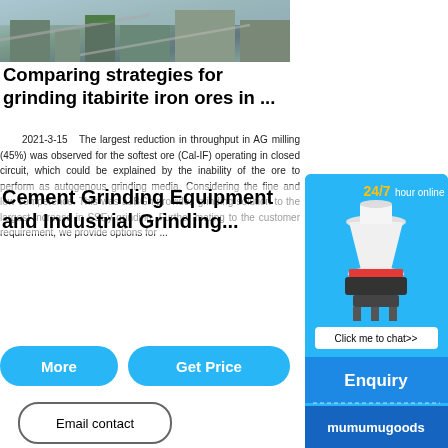[Figure (photo): Aerial view of an industrial grinding or mining facility with large structures, conveyor belts, and buildings]
Comparing strategies for grinding itabirite iron ores in ...
2021-3-15   The largest reduction in throughput in AG milling (45%) was observed for the softest ore (Cal-IF) operating in closed circuit, which could be explained by the inability of the ore to perform as autogenous grinding media. Considering the fine and low competence. This was a1BGh provides grinding solution. Further mating to the customer requirement, we provide options for ...
Cement Grinding Equipment and Industrial Grinding ...
[Figure (photo): Blue sidebar advertisement showing a cone crusher machine with 24/7 hour online text, Click me to chat>> button, Enquiry section, and mumumugoods branding]
More
Get Price
Email contact